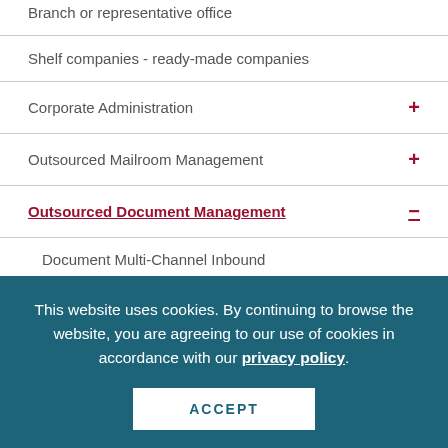Branch or representative office
Shelf companies - ready-made companies
Corporate Administration +
Outsourced Mailroom Management +
Outsourced Document Management −
Document Multi-Channel Inbound
Document Scanning – Off-Site
Document Cloud Scanning – On-Site
This website uses cookies. By continuing to browse the website, you are agreeing to our use of cookies in accordance with our privacy policy.
ACCEPT